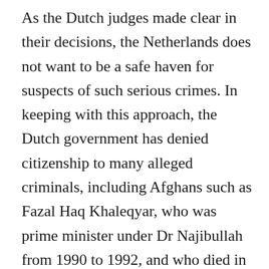As the Dutch judges made clear in their decisions, the Netherlands does not want to be a safe haven for suspects of such serious crimes. In keeping with this approach, the Dutch government has denied citizenship to many alleged criminals, including Afghans such as Fazal Haq Khaleqyar, who was prime minister under Dr Najibullah from 1990 to 1992, and who died in 2004 in the Netherlands. Some Afghans who were denied citizenship left the Netherlands and either returned to Afghanistan or went to other European countries that have a softer approach to war crimes suspects. Among those who returned to Afghanistan is Nur ul-Haq Ulumi, who